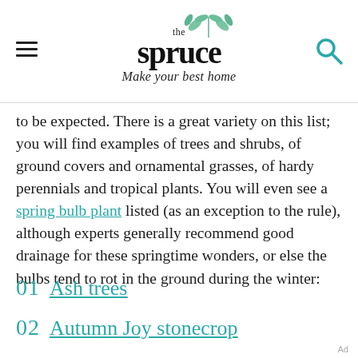the spruce — Make your best home
to be expected. There is a great variety on this list; you will find examples of trees and shrubs, of ground covers and ornamental grasses, of hardy perennials and tropical plants. You will even see a spring bulb plant listed (as an exception to the rule), although experts generally recommend good drainage for these springtime wonders, or else the bulbs tend to rot in the ground during the winter:
01  Ash trees
02  Autumn Joy stonecrop
Ad